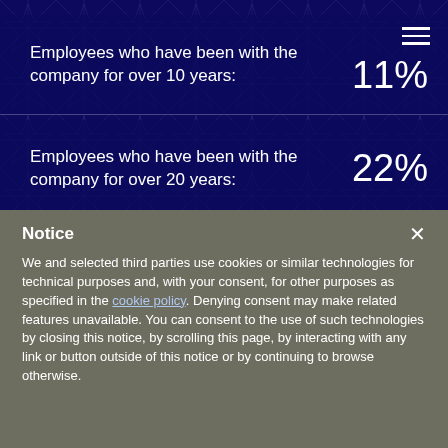Employees who have been with the company for over 10 years: 11%
Employees who have been with the company for over 20 years: 22%
Staff who completed or are completing
Notice
We and selected third parties use cookies or similar technologies for technical purposes and, with your consent, for other purposes as specified in the cookie policy. Denying consent may make related features unavailable. You can consent to the use of such technologies by closing this notice, by scrolling this page, by interacting with any link or button outside of this notice or by continuing to browse otherwise.